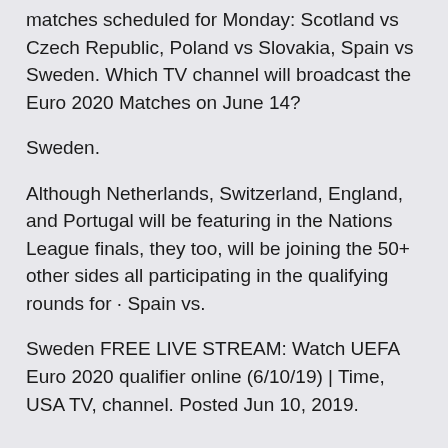matches scheduled for Monday: Scotland vs Czech Republic, Poland vs Slovakia, Spain vs Sweden. Which TV channel will broadcast the Euro 2020 Matches on June 14?
Sweden.
Although Netherlands, Switzerland, England, and Portugal will be featuring in the Nations League finals, they too, will be joining the 50+ other sides all participating in the qualifying rounds for · Spain vs.
Sweden FREE LIVE STREAM: Watch UEFA Euro 2020 qualifier online (6/10/19) | Time, USA TV, channel. Posted Jun 10, 2019.